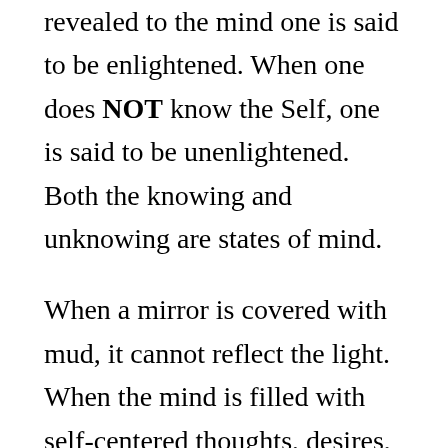revealed to the mind one is said to be enlightened. When one does NOT know the Self, one is said to be unenlightened. Both the knowing and unknowing are states of mind.
When a mirror is covered with mud, it cannot reflect the light. When the mind is filled with self-centered thoughts, desires, and misconceptions, it cannot reflect the Light of the Soul.
The Light of the Soul means Pure Awareness;